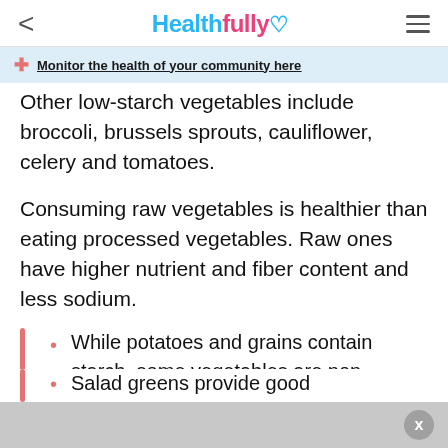Healthfully
Monitor the health of your community here
Other low-starch vegetables include broccoli, brussels sprouts, cauliflower, celery and tomatoes.
Consuming raw vegetables is healthier than eating processed vegetables. Raw ones have higher nutrient and fiber content and less sodium.
While potatoes and grains contain starch, some vegetables are non-starchy foods.
Salad greens provide good